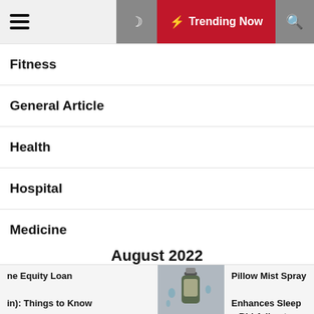Trending Now
Fitness
General Article
Health
Hospital
Medicine
August 2022
| M | T | W | T | F | S | S |
| --- | --- | --- | --- | --- | --- | --- |
| 1 | 2 | 3 | 4 | 5 | 6 | 7 |
ne Equity Loan in): Things to Know
[Figure (photo): Photo of a CBD oil bottle with droplets]
How a CBD Pillow Mist Spray Enhances Sleep – Bid Adieu t